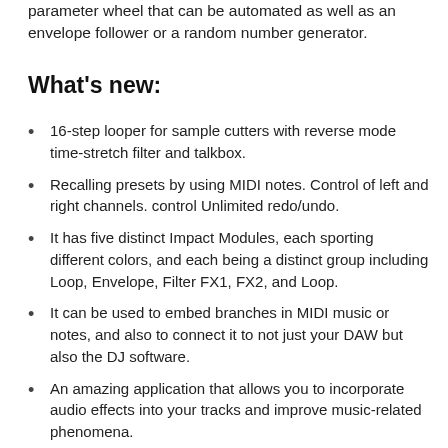parameter wheel that can be automated as well as an envelope follower or a random number generator.
What's new:
16-step looper for sample cutters with reverse mode time-stretch filter and talkbox.
Recalling presets by using MIDI notes. Control of left and right channels. control Unlimited redo/undo.
It has five distinct Impact Modules, each sporting different colors, and each being a distinct group including Loop, Envelope, Filter FX1, FX2, and Loop.
It can be used to embed branches in MIDI music or notes, and also to connect it to not just your DAW but also the DJ software.
An amazing application that allows you to incorporate audio effects into your tracks and improve music-related phenomena.
Separate Your tracks into 16 distinct parts and easily